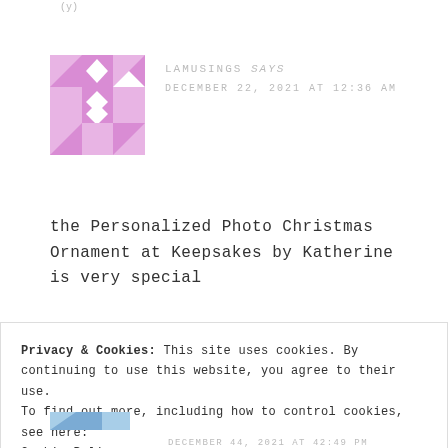(y)
LAMUSINGS says
DECEMBER 22, 2021 AT 12:36 AM
[Figure (illustration): Pink geometric quilt-pattern avatar with triangles, diamonds, and rectangles in a mosaic style]
the Personalized Photo Christmas Ornament at Keepsakes by Katherine is very special
Privacy & Cookies: This site uses cookies. By continuing to use this website, you agree to their use.
To find out more, including how to control cookies, see here:
Cookie Policy
Close and accept